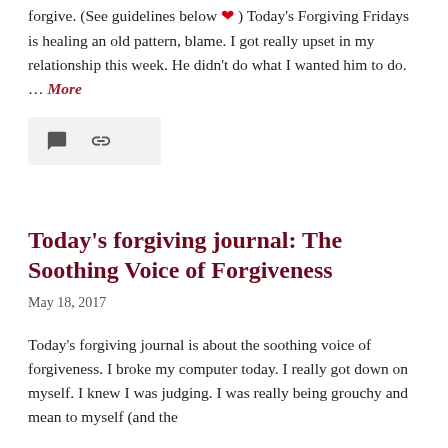forgive. (See guidelines below ❤) Today's Forgiving Fridays is healing an old pattern, blame. I got really upset in my relationship this week. He didn't do what I wanted him to do.  … More
[Figure (other): Icon bar with comment bubble and link icons on a light gray background]
Today's forgiving journal: The Soothing Voice of Forgiveness
May 18, 2017
Today's forgiving journal is about the soothing voice of forgiveness. I broke my computer today. I really got down on myself.  I knew I was judging.  I was really being grouchy and mean to myself (and the